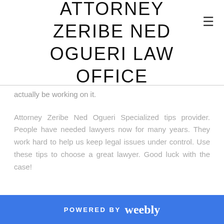ATTORNEY ZERIBE NED OGUERI LAW OFFICE
actually be working on it.
Attorney Zeribe Ned Ogueri Specialized tips provider. People have needed lawyers now for many years. They work hard to help us keep legal issues under control. Use these tips to choose a great lawyer. Good luck with the case!
[Figure (other): Twitter Tweet button]
0 Comments
POWERED BY weebly